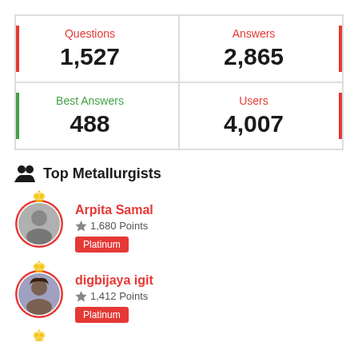| Questions | Answers | Best Answers | Users |
| --- | --- | --- | --- |
| 1,527 | 2,865 | 488 | 4,007 |
Top Metallurgists
Arpita Samal — 1,680 Points — Platinum
digbijaya igit — 1,412 Points — Platinum